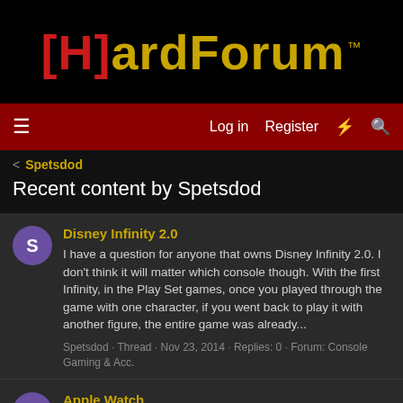[Figure (logo): [H]ardForum logo with red brackets and gold text on black background]
Log in  Register
< Spetsdod
Recent content by Spetsdod
Disney Infinity 2.0
I have a question for anyone that owns Disney Infinity 2.0. I don't think it will matter which console though. With the first Infinity, in the Play Set games, once you played through the game with one character, if you went back to play it with another figure, the entire game was already...
Spetsdod · Thread · Nov 23, 2014 · Replies: 0 · Forum: Console Gaming & Acc.
Apple Watch
The requirement that you must also have an iphone for it to work is a limiting factor. I could see using the Watch if it was more of a